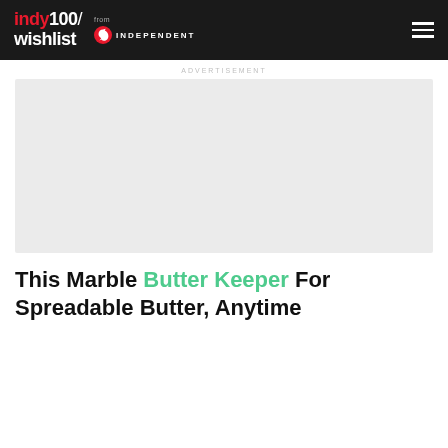indy100/wishlist from INDEPENDENT
ADVERTISEMENT
[Figure (other): Advertisement placeholder box, light grey rectangle]
This Marble Butter Keeper For Spreadable Butter, Anytime